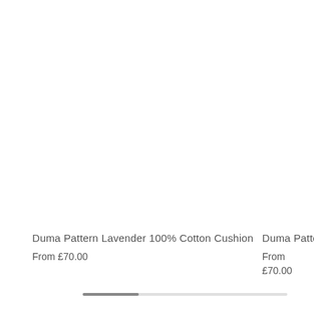Duma Pattern Lavender 100% Cotton Cushion
From £70.00
Duma Patte
From £70.00
[Figure (other): Horizontal scroll progress bar with dark thumb on left and light track on right]